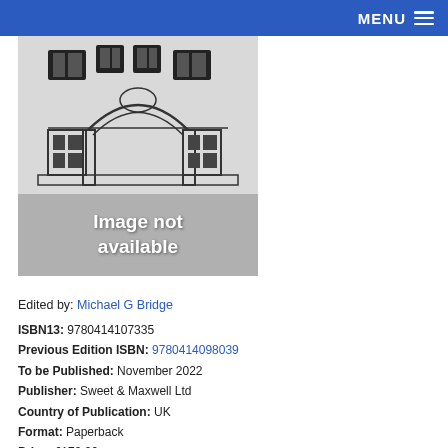MENU
[Figure (illustration): Book cover placeholder showing a classical building illustration in the top portion and 'Image not available' text in the lower grey portion]
Edited by: Michael G Bridge
ISBN13: 9780414107335
Previous Edition ISBN: 9780414098039
To be Published: November 2022
Publisher: Sweet & Maxwell Ltd
Country of Publication: UK
Format: Paperback
Price: £179.99